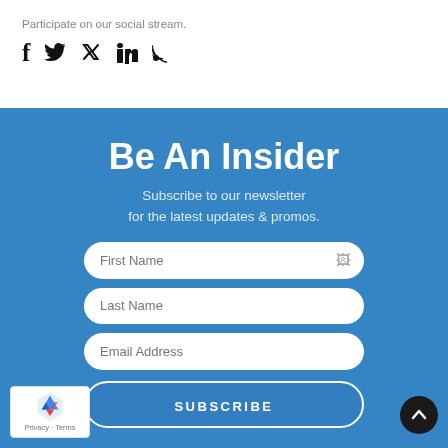Participate on our social stream.
[Figure (infographic): Social media icons: Facebook, Twitter, LinkedIn, RSS feed]
Be An Insider
Subscribe to our newsletter for the latest updates & promos.
First Name
Last Name
Email Address
SUBSCRIBE
[Figure (logo): reCAPTCHA logo with Privacy - Terms text]